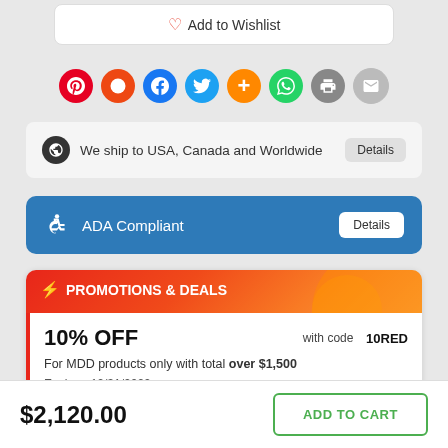♡ Add to Wishlist
[Figure (other): Social sharing icons row: Pinterest, StumbleUpon, Facebook, Twitter, Google+, WhatsApp, Print, Email]
🌐 We ship to USA, Canada and Worldwide  [Details]
♿ ADA Compliant  [Details]
⚡ PROMOTIONS & DEALS
10% OFF  with code  10RED
For MDD products only with total over $1,500
Expires: 12/31/2022
$2,120.00  ADD TO CART
Expires: 12/31/2022